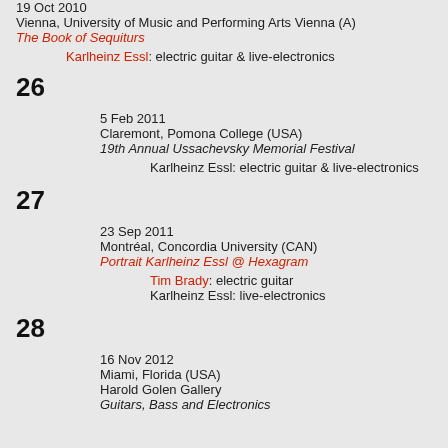19 Oct 2010
Vienna, University of Music and Performing Arts Vienna (A)
The Book of Sequiturs
Karlheinz Essl: electric guitar & live-electronics
26
5 Feb 2011
Claremont, Pomona College (USA)
19th Annual Ussachevsky Memorial Festival
Karlheinz Essl: electric guitar & live-electronics
27
23 Sep 2011
Montréal, Concordia University (CAN)
Portrait Karlheinz Essl @ Hexagram
Tim Brady: electric guitar
Karlheinz Essl: live-electronics
28
16 Nov 2012
Miami, Florida (USA)
Harold Golen Gallery
Guitars, Bass and Electronics